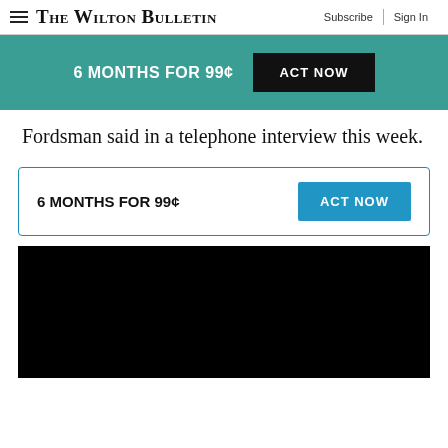The Wilton Bulletin | Subscribe | Sign In
[Figure (infographic): Teal banner advertisement: '6 MONTHS FOR 99¢ ACT NOW' with black button]
Fordsman said in a telephone interview this week.
[Figure (infographic): Subscription box with border: '6 MONTHS FOR 99¢' and blue 'ACT NOW' button]
[Figure (photo): Black video player area]